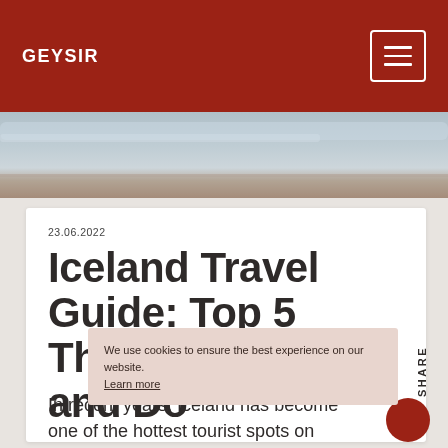GEYSIR
[Figure (photo): Landscape photo strip showing sky and terrain, likely Icelandic scenery]
23.06.2022
Iceland Travel Guide: Top 5 Things To See and Do
We use cookies to ensure the best experience on our website. Learn more
SHARE
In recent years, Iceland has become one of the hottest tourist spots on